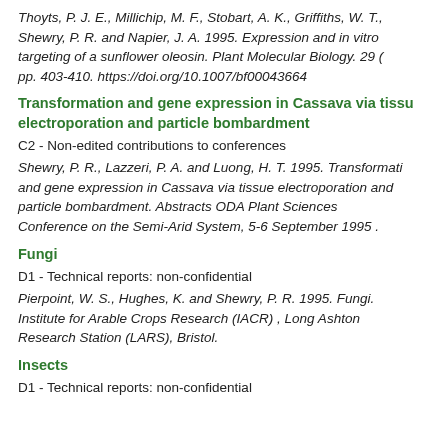Thoyts, P. J. E., Millichip, M. F., Stobart, A. K., Griffiths, W. T., Shewry, P. R. and Napier, J. A. 1995. Expression and in vitro targeting of a sunflower oleosin. Plant Molecular Biology. 29 (pp. 403-410. https://doi.org/10.1007/bf00043664
Transformation and gene expression in Cassava via tissue electroporation and particle bombardment
C2 - Non-edited contributions to conferences
Shewry, P. R., Lazzeri, P. A. and Luong, H. T. 1995. Transformation and gene expression in Cassava via tissue electroporation and particle bombardment. Abstracts ODA Plant Sciences Conference on the Semi-Arid System, 5-6 September 1995 .
Fungi
D1 - Technical reports: non-confidential
Pierpoint, W. S., Hughes, K. and Shewry, P. R. 1995. Fungi. Institute for Arable Crops Research (IACR) , Long Ashton Research Station (LARS), Bristol.
Insects
D1 - Technical reports: non-confidential